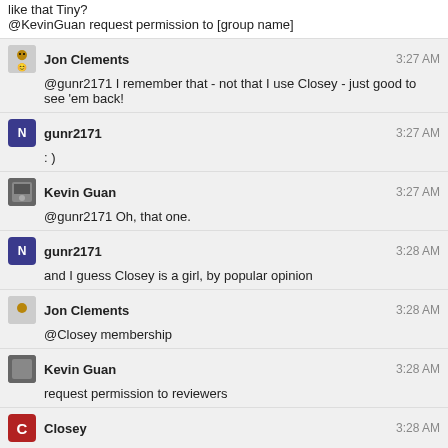like that Tiny?
@KevinGuan request permission to [group name]
Jon Clements 3:27 AM
@gunr2171 I remember that - not that I use Closey - just good to see 'em back!
gunr2171 3:27 AM
: )
Kevin Guan 3:27 AM
@gunr2171 Oh, that one.
gunr2171 3:28 AM
and I guess Closey is a girl, by popular opinion
Jon Clements 3:28 AM
@Closey membership
Kevin Guan 3:28 AM
request permission to reviewers
Closey 3:28 AM
@JonClements Current users in permission groups:
Reviewer
    gunr2171 (1043380)
    Sam (2246344)
    rene (578411)
    NathanOliver (4342498)
    Tiny Giant (4639281)